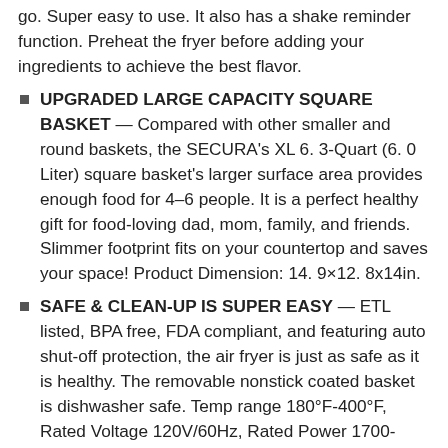go. Super easy to use. It also has a shake reminder function. Preheat the fryer before adding your ingredients to achieve the best flavor.
UPGRADED LARGE CAPACITY SQUARE BASKET — Compared with other smaller and round baskets, the SECURA's XL 6. 3-Quart (6. 0 Liter) square basket's larger surface area provides enough food for 4–6 people. It is a perfect healthy gift for food-loving dad, mom, family, and friends. Slimmer footprint fits on your countertop and saves your space! Product Dimension: 14. 9×12. 8x14in.
SAFE & CLEAN-UP IS SUPER EASY — ETL listed, BPA free, FDA compliant, and featuring auto shut-off protection, the air fryer is just as safe as it is healthy. The removable nonstick coated basket is dishwasher safe. Temp range 180°F-400°F, Rated Voltage 120V/60Hz, Rated Power 1700-Watt. Built for USA &